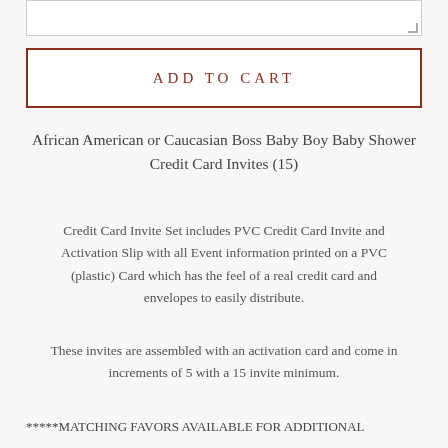[Figure (screenshot): Textarea input box with resize handle in bottom-right corner]
ADD TO CART
African American or Caucasian Boss Baby Boy Baby Shower Credit Card Invites (15)
Credit Card Invite Set includes PVC Credit Card Invite and Activation Slip with all Event information printed on a PVC (plastic) Card which has the feel of a real credit card and envelopes to easily distribute.
These invites are assembled with an activation card and come in increments of 5 with a 15 invite minimum.
*****MATCHING FAVORS AVAILABLE FOR ADDITIONAL